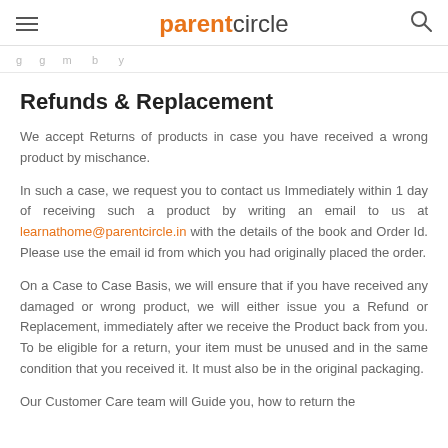parentcircle
g g m b y
Refunds & Replacement
We accept Returns of products in case you have received a wrong product by mischance.
In such a case, we request you to contact us Immediately within 1 day of receiving such a product by writing an email to us at learnathome@parentcircle.in with the details of the book and Order Id. Please use the email id from which you had originally placed the order.
On a Case to Case Basis, we will ensure that if you have received any damaged or wrong product, we will either issue you a Refund or Replacement, immediately after we receive the Product back from you. To be eligible for a return, your item must be unused and in the same condition that you received it. It must also be in the original packaging.
Our Customer Care team will Guide you, how to return the